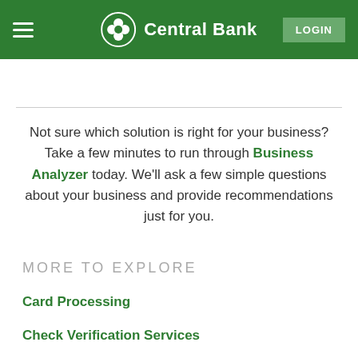Central Bank — LOGIN
Not sure which solution is right for your business? Take a few minutes to run through Business Analyzer today. We'll ask a few simple questions about your business and provide recommendations just for you.
MORE TO EXPLORE
Card Processing
Check Verification Services